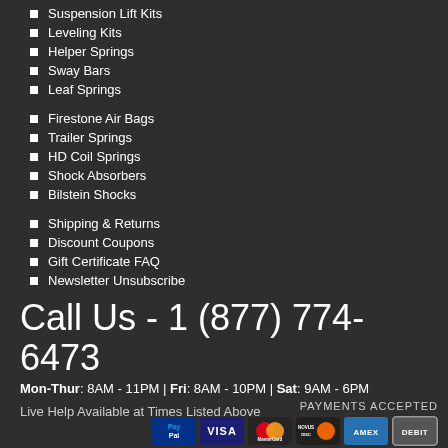Suspension Lift Kits
Leveling Kits
Helper Springs
Sway Bars
Leaf Springs
Firestone Air Bags
Trailer Springs
HD Coil Springs
Shock Absorbers
Bilstein Shocks
Shipping & Returns
Discount Coupons
Gift Certificate FAQ
Newsletter Unsubscribe
Call Us - 1 (877) 774-6473
Mon-Thur: 8AM - 11PM | Fri: 8AM - 10PM | Sat: 9AM - 6PM
Live Help Available at Times Listed Above
PAYMENTS ACCEPTED
[Figure (other): Payment method icons: PayPal, Visa, MasterCard, Discover, Amex, Debit]